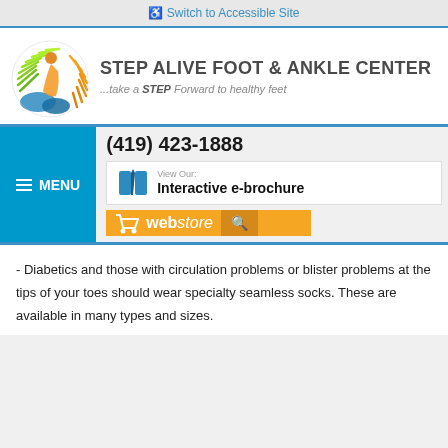Switch to Accessible Site
[Figure (logo): Step Alive Foot & Ankle Center circular logo with green, orange and blue foot/wave motif]
STEP ALIVE FOOT & ANKLE CENTER
...take a STEP Forward to healthy feet
MENU
(419) 423-1888
View Our: Interactive e-brochure
webstore
- Diabetics and those with circulation problems or blister problems at the tips of your toes should wear specialty seamless socks. These are available in many types and sizes.